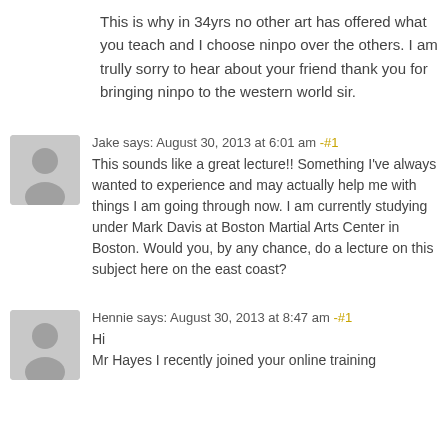This is why in 34yrs no other art has offered what you teach and I choose ninpo over the others. I am trully sorry to hear about your friend thank you for bringing ninpo to the western world sir.
Jake says: August 30, 2013 at 6:01 am -#1
This sounds like a great lecture!! Something I've always wanted to experience and may actually help me with things I am going through now. I am currently studying under Mark Davis at Boston Martial Arts Center in Boston. Would you, by any chance, do a lecture on this subject here on the east coast?
Hennie says: August 30, 2013 at 8:47 am -#1
Hi
Mr Hayes I recently joined your online training